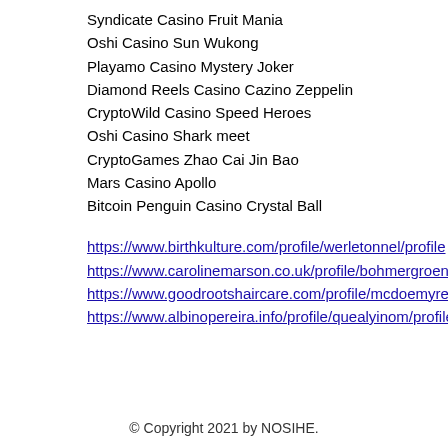Syndicate Casino Fruit Mania
Oshi Casino Sun Wukong
Playamo Casino Mystery Joker
Diamond Reels Casino Cazino Zeppelin
CryptoWild Casino Speed Heroes
Oshi Casino Shark meet
CryptoGames Zhao Cai Jin Bao
Mars Casino Apollo
Bitcoin Penguin Casino Crystal Ball
https://www.birthkulture.com/profile/werletonnel/profile
https://www.carolinemarson.co.uk/profile/bohmergroenl/profile
https://www.goodrootshaircare.com/profile/mcdoemyreeq/profile
https://www.albinopereira.info/profile/quealyinom/profile
© Copyright 2021 by NOSIHE.